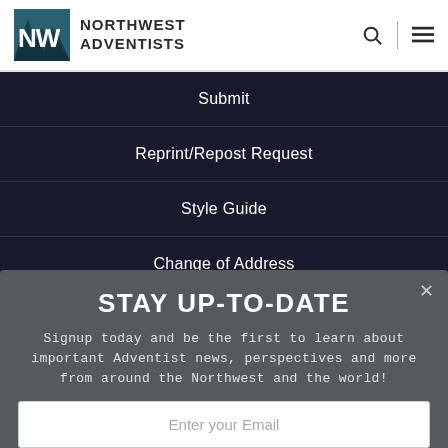NORTHWEST ADVENTISTS
Submit
Reprint/Repost Request
Style Guide
Change of Address
STAY UP-TO-DATE
Signup today and be the first to learn about important Adventist news, perspectives and more from around the Northwest and the world!
Enter your Email
Subscribe Now